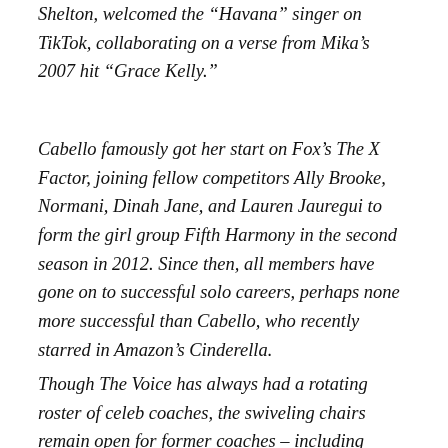Shelton, welcomed the "Havana" singer on TikTok, collaborating on a verse from Mika's 2007 hit "Grace Kelly."
Cabello famously got her start on Fox's The X Factor, joining fellow competitors Ally Brooke, Normani, Dinah Jane, and Lauren Jauregui to form the girl group Fifth Harmony in the second season in 2012. Since then, all members have gone on to successful solo careers, perhaps none more successful than Cabello, who recently starred in Amazon's Cinderella.
Though The Voice has always had a rotating roster of celeb coaches, the swiveling chairs remain open for former coaches – including Clarkson and